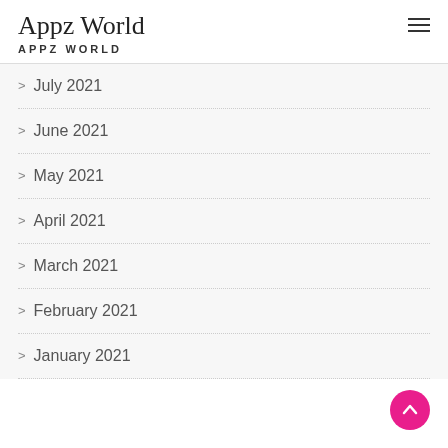Appz World
APPZ WORLD
July 2021
June 2021
May 2021
April 2021
March 2021
February 2021
January 2021